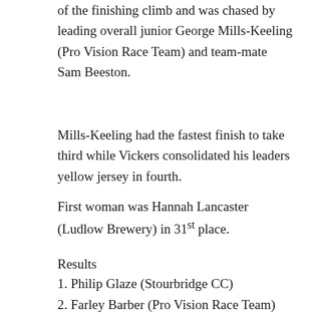of the finishing climb and was chased by leading overall junior George Mills-Keeling (Pro Vision Race Team) and team-mate Sam Beeston.
Mills-Keeling had the fastest finish to take third while Vickers consolidated his leaders yellow jersey in fourth.
First woman was Hannah Lancaster (Ludlow Brewery) in 31st place.
Results
1. Philip Glaze (Stourbridge CC)
2. Farley Barber (Pro Vision Race Team)